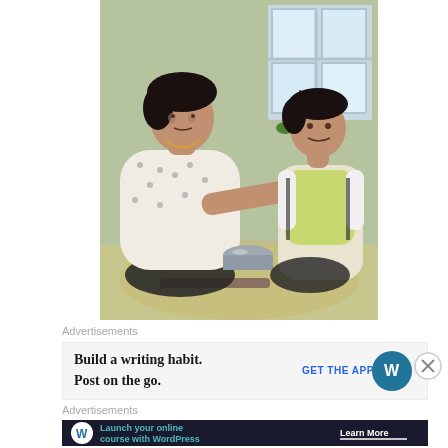[Figure (photo): A woman in a floral shirt sits cross-legged on a mat feeding or interacting with a young boy in a yellow and white school uniform. There is a metal bowl on the mat. A window with plants is visible in the background.]
Advertisements
[Figure (screenshot): WordPress advertisement banner: 'Build a writing habit. Post on the go.' with 'GET THE APP' call-to-action and WordPress logo.]
Advertisements
[Figure (screenshot): Dark WordPress advertisement banner: 'Launch your online course with WordPress' with 'Learn More' call-to-action.]